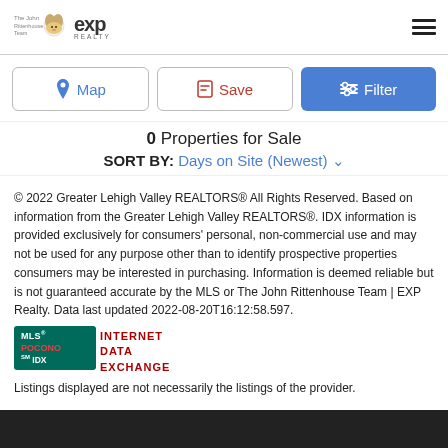The John Rittenhouse Team | EXP Realty logo and hamburger menu
Map
Save
Filter
0 Properties for Sale
SORT BY: Days on Site (Newest)
© 2022 Greater Lehigh Valley REALTORS® All Rights Reserved. Based on information from the Greater Lehigh Valley REALTORS®. IDX information is provided exclusively for consumers' personal, non-commercial use and may not be used for any purpose other than to identify prospective properties consumers may be interested in purchasing. Information is deemed reliable but is not guaranteed accurate by the MLS or The John Rittenhouse Team | EXP Realty. Data last updated 2022-08-20T16:12:58.597.
[Figure (logo): MLS® POCONO SM IDX / INTERNET DATA EXCHANGE logo]
Listings displayed are not necessarily the listings of the provider.